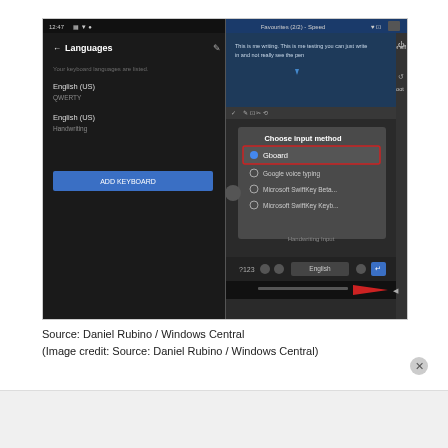[Figure (screenshot): Split-screen Android screenshot: Left side shows 'Languages' settings screen with English (US) / QWERTY and English (US) / Handwriting listed, and an 'ADD KEYBOARD' button. Right side shows a note-taking app with handwritten text and a 'Choose input method' dialog with options: Gboard (selected), Google voice typing, Microsoft SwiftKey Beta..., Microsoft SwiftKey Keyb... A red arrow points right at the bottom.]
Source: Daniel Rubino / Windows Central
(Image credit: Source: Daniel Rubino / Windows Central)